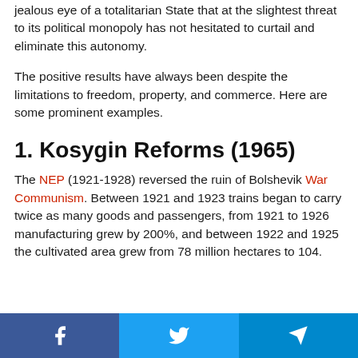jealous eye of a totalitarian State that at the slightest threat to its political monopoly has not hesitated to curtail and eliminate this autonomy.
The positive results have always been despite the limitations to freedom, property, and commerce. Here are some prominent examples.
1. Kosygin Reforms (1965)
The NEP (1921-1928) reversed the ruin of Bolshevik War Communism. Between 1921 and 1923 trains began to carry twice as many goods and passengers, from 1921 to 1926 manufacturing grew by 200%, and between 1922 and 1925 the cultivated area grew from 78 million hectares to 104.